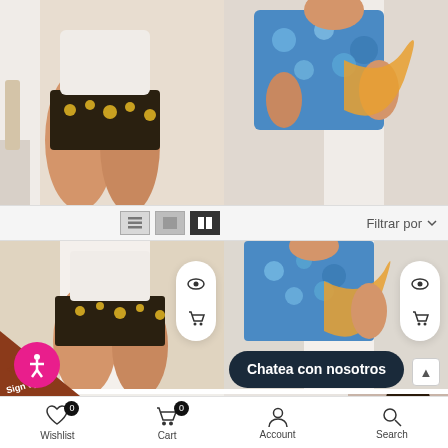[Figure (photo): Fashion e-commerce screenshot showing clothing products grid with two product images at top, filter toolbar, product names and prices, and bottom navigation bar in Spanish]
Filtrar por
Xyla Shorts
$49.99 $29.99
Danita Top
$44.99
Chatea con nosotros
Wishlist
Cart
Account
Search